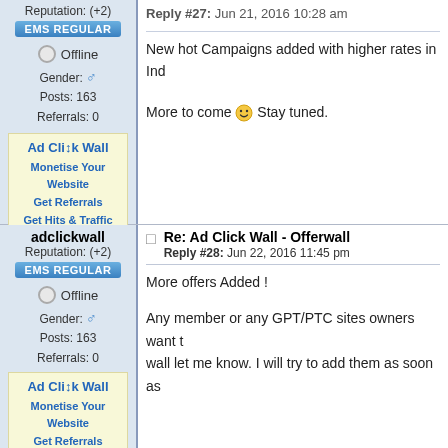Reputation: (+2)
EMS REGULAR
Offline
Gender: ♂ Posts: 163 Referrals: 0
[Figure (infographic): Ad Click Wall advertisement box with links: Monetise Your Website, Get Referrals, Get Hits & Traffic, Affordable Ad Costs]
New hot Campaigns added with higher rates in Ind
More to come 🙂 Stay tuned.
adclickwall
Reputation: (+2)
EMS REGULAR
Offline
Gender: ♂ Posts: 163 Referrals: 0
[Figure (infographic): Ad Click Wall advertisement box with links: Monetise Your Website, Get Referrals]
Re: Ad Click Wall - Offerwall Reply #28: Jun 22, 2016 11:45 pm
More offers Added !
Any member or any GPT/PTC sites owners want t wall let me know. I will try to add them as soon as